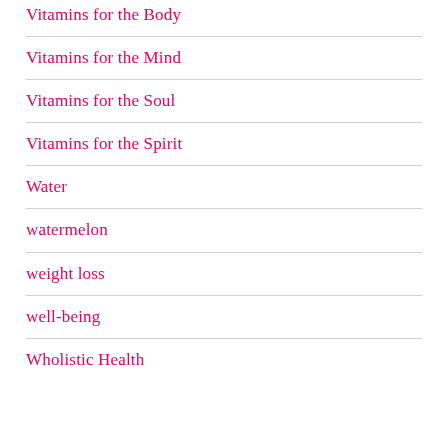Vitamins for the Body
Vitamins for the Mind
Vitamins for the Soul
Vitamins for the Spirit
Water
watermelon
weight loss
well-being
Wholistic Health